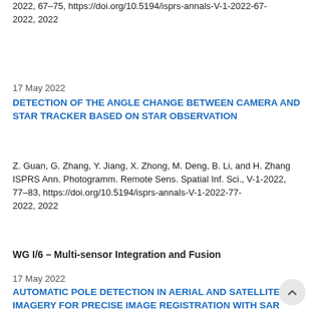2022, 67–75, https://doi.org/10.5194/isprs-annals-V-1-2022-67-2022, 2022
17 May 2022
DETECTION OF THE ANGLE CHANGE BETWEEN CAMERA AND STAR TRACKER BASED ON STAR OBSERVATION
Z. Guan, G. Zhang, Y. Jiang, X. Zhong, M. Deng, B. Li, and H. Zhang
ISPRS Ann. Photogramm. Remote Sens. Spatial Inf. Sci., V-1-2022, 77–83, https://doi.org/10.5194/isprs-annals-V-1-2022-77-2022, 2022
WG I/6 – Multi-sensor Integration and Fusion
17 May 2022
AUTOMATIC POLE DETECTION IN AERIAL AND SATELLITE IMAGERY FOR PRECISE IMAGE REGISTRATION WITH SAR GROUND CONTROL POINTS